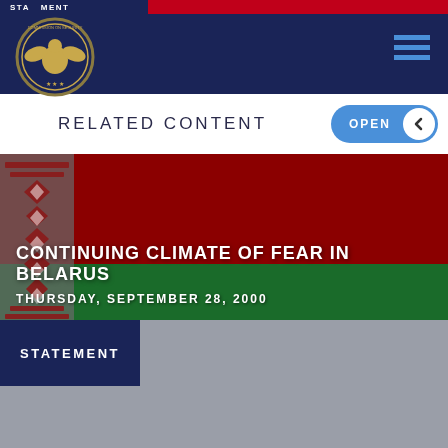STATEMENT
RELATED CONTENT
[Figure (illustration): Belarus national flag with red and green horizontal stripes and decorative white-red ornamental pattern on the left side]
CONTINUING CLIMATE OF FEAR IN BELARUS
THURSDAY, SEPTEMBER 28, 2000
STATEMENT